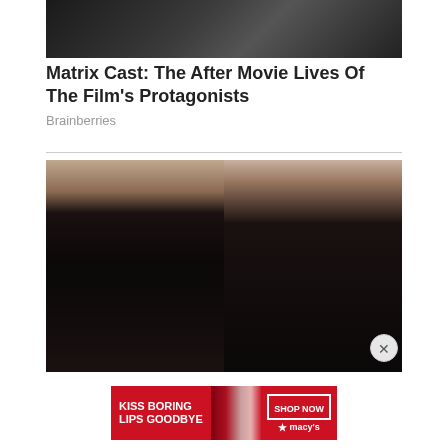[Figure (photo): Top portion of a photo showing people in dark clothing, cropped at top]
Matrix Cast: The After Movie Lives Of The Film's Protagonists
Brainberries
[Figure (photo): A man in a tuxedo with bow tie and a woman in a black turtleneck smiling at what appears to be an awards ceremony. An X close button is visible in the lower right.]
[Figure (photo): Advertisement banner: KISS BORING LIPS GOODBYE with SHOP NOW and macy's logo]